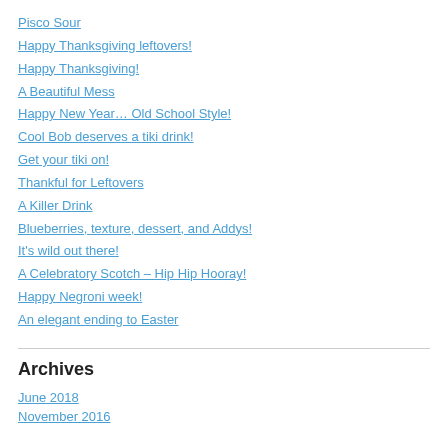Pisco Sour
Happy Thanksgiving leftovers!
Happy Thanksgiving!
A Beautiful Mess
Happy New Year… Old School Style!
Cool Bob deserves a tiki drink!
Get your tiki on!
Thankful for Leftovers
A Killer Drink
Blueberries, texture, dessert, and Addys!
It's wild out there!
A Celebratory Scotch – Hip Hip Hooray!
Happy Negroni week!
An elegant ending to Easter
Archives
June 2018
November 2016